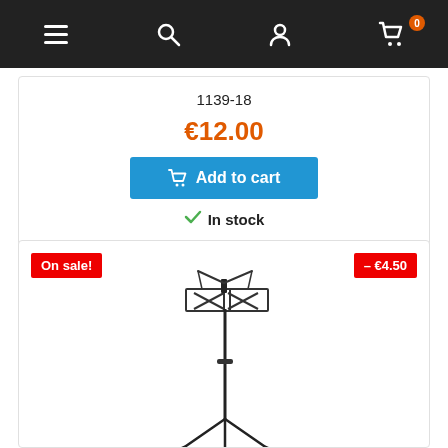Navigation bar with menu, search, account, and cart icons
1139-18
€12.00
Add to cart
In stock
[Figure (photo): Music stand (folding orchestral music stand with tripod base), product listing image]
On sale!
– €4.50